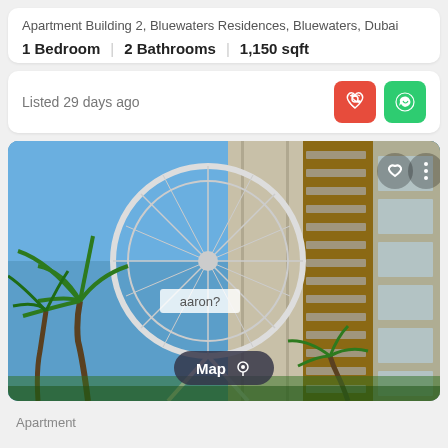Apartment Building 2, Bluewaters Residences, Bluewaters, Dubai
1 Bedroom | 2 Bathrooms | 1,150 sqft
Listed 29 days ago
[Figure (photo): Exterior photo of Bluewaters Residences apartment building with Ain Dubai Ferris wheel visible in background, palm trees in foreground, blue sky. Overlaid with a label box reading 'aaron?' and a Map button at the bottom.]
Apartment